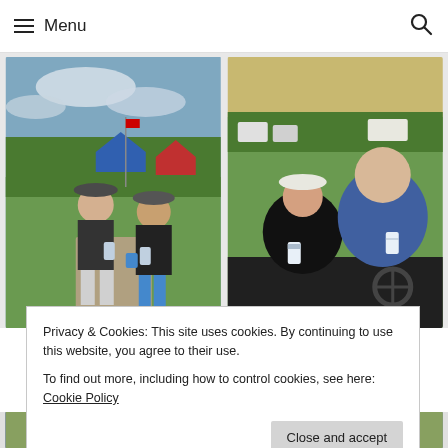☰ Menu
[Figure (photo): Two people standing outdoors on a golf course path, one wearing a hat and sunglasses, both holding beverage cans]
[Figure (photo): A woman and a man sitting in a golf cart, both holding beverage cans and smiling]
Privacy & Cookies: This site uses cookies. By continuing to use this website, you agree to their use.
To find out more, including how to control cookies, see here: Cookie Policy
Close and accept